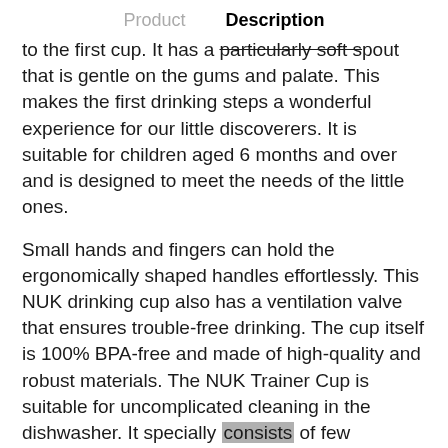Product   Description
to the first cup. It has a particularly soft spout that is gentle on the gums and palate. This makes the first drinking steps a wonderful experience for our little discoverers. It is suitable for children aged 6 months and over and is designed to meet the needs of the little ones.
Small hands and fingers can hold the ergonomically shaped handles effortlessly. This NUK drinking cup also has a ventilation valve that ensures trouble-free drinking. The cup itself is 100% BPA-free and made of high-quality and robust materials. The NUK Trainer Cup is suitable for uncomplicated cleaning in the dishwasher. It specially consists of few individual parts that can be easily disassembled and reassembled.
HIGHLIGHTS: